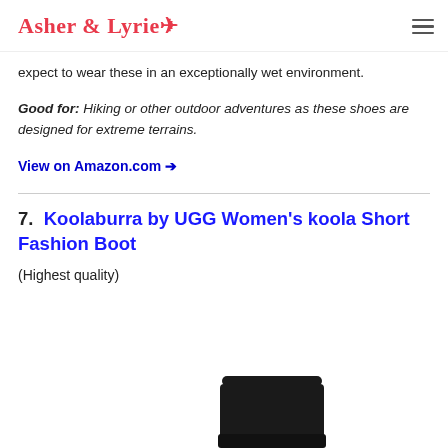Asher & Lyrie ✈
expect to wear these in an exceptionally wet environment.
Good for: Hiking or other outdoor adventures as these shoes are designed for extreme terrains.
View on Amazon.com →
7.  Koolaburra by UGG Women's koola Short Fashion Boot
(Highest quality)
[Figure (photo): Black short fashion boot (Koolaburra by UGG Women's koola Short Fashion Boot) shown partially from the top.]